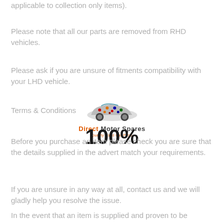applicable to collection only items).
Please note that all our parts are removed from RHD vehicles.
Please ask if you are unsure of fitments compatibility with your LHD vehicle.
Terms & Conditions
[Figure (logo): Direct Motor Spares logo with a car made of parts and text 'Direct Motor Spares - Quality Used Car Parts']
100%
Before you purchase an item please check you are sure that the details supplied in the advert match your requirements.
If you are unsure in any way at all, contact us and we will gladly help you resolve the issue.
In the event that an item is supplied and proven to be